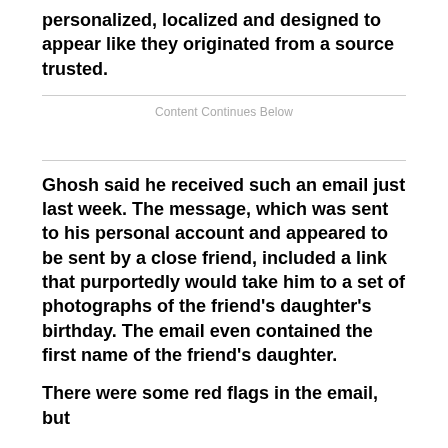personalized, localized and designed to appear like they originated from a source trusted.
Content Continues Below
Ghosh said he received such an email just last week. The message, which was sent to his personal account and appeared to be sent by a close friend, included a link that purportedly would take him to a set of photographs of the friend's daughter's birthday. The email even contained the first name of the friend's daughter.
There were some red flags in the email, but